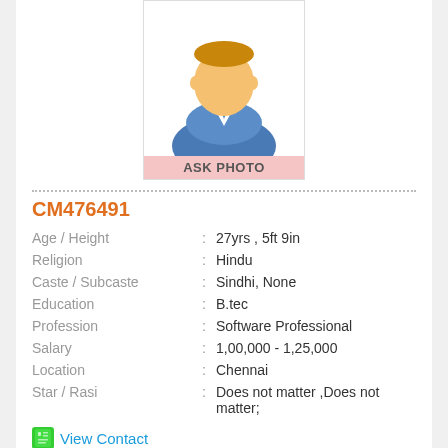[Figure (illustration): Generic male avatar placeholder with 'ASK PHOTO' label below]
CM476491
| Age / Height | : | 27yrs , 5ft 9in |
| Religion | : | Hindu |
| Caste / Subcaste | : | Sindhi, None |
| Education | : | B.tec |
| Profession | : | Software Professional |
| Salary | : | 1,00,000 - 1,25,000 |
| Location | : | Chennai |
| Star / Rasi | : | Does not matter ,Does not matter; |
View Contact
[Figure (photo): Partial photo at bottom of page, partially visible]